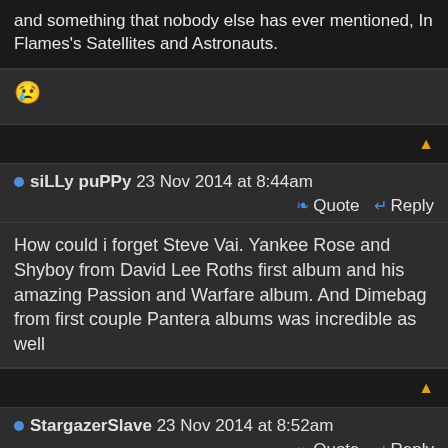and something that nobody else has ever mentioned, In Flames's Satellites and Astronauts.
[Figure (illustration): Crying/weeping emoji face]
siLLy puPPy 23 Nov 2014 at 8:44am
Quote  Reply
How could i forget Steve Vai. Yankee Rose and Shyboy from David Lee Roths first album and his amazing Passion and Warfare album. And Dimebag from first couple Pantera albums was incredible as well
StargazerSlave 23 Nov 2014 at 8:52am
Quote  Reply